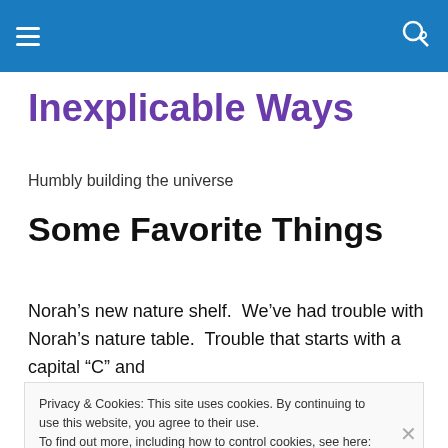Navigation bar with hamburger menu and search icon
Inexplicable Ways
Humbly building the universe
Some Favorite Things
Norah’s new nature shelf.  We’ve had trouble with Norah’s nature table.  Trouble that starts with a capital “C” and
Privacy & Cookies: This site uses cookies. By continuing to use this website, you agree to their use.
To find out more, including how to control cookies, see here: Cookie Policy